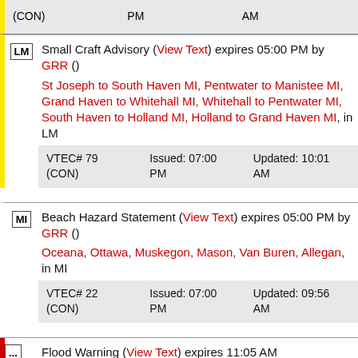(CON) [partial top row] Issued: PM Updated: AM
LM Small Craft Advisory (View Text) expires 05:00 PM by GRR () St Joseph to South Haven MI, Pentwater to Manistee MI, Grand Haven to Whitehall MI, Whitehall to Pentwater MI, South Haven to Holland MI, Holland to Grand Haven MI, in LM VTEC# 79 (CON) Issued: 07:00 PM Updated: 10:01 AM
MI Beach Hazard Statement (View Text) expires 05:00 PM by GRR () Oceana, Ottawa, Muskegon, Mason, Van Buren, Allegan, in MI VTEC# 22 (CON) Issued: 07:00 PM Updated: 09:56 AM
Flood Warning (View Text) expires 11:05 AM [partial]